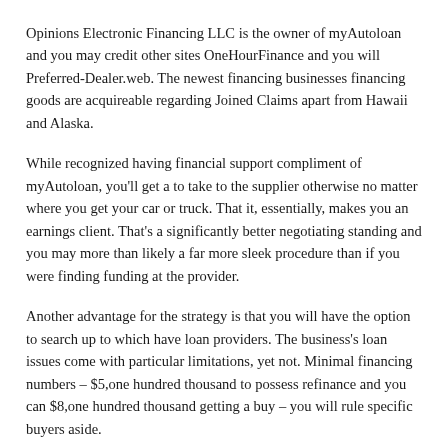Opinions Electronic Financing LLC is the owner of myAutoloan and you may credit other sites OneHourFinance and you will Preferred-Dealer.web. The newest financing businesses financing goods are acquireable regarding Joined Claims apart from Hawaii and Alaska.
While recognized having financial support compliment of myAutoloan, you'll get a to take to the supplier otherwise no matter where you get your car or truck. That it, essentially, makes you an earnings client. That's a significantly better negotiating standing and you may more than likely a far more sleek procedure than if you were finding funding at the provider.
Another advantage for the strategy is that you will have the option to search up to which have loan providers. The business's loan issues come with particular limitations, yet not. Minimal financing numbers – $5,one hundred thousand to possess refinance and you can $8,one hundred thousand getting a buy – you will rule specific buyers aside.
I…